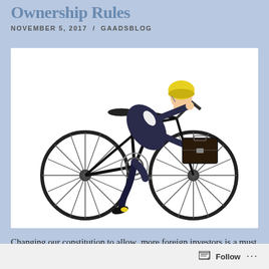Ownership Rules
NOVEMBER 5, 2017  /  GAADSBLOG
[Figure (photo): A businessman in a dark suit and yellow bicycle helmet riding a racing bicycle while holding a black briefcase, photographed against a white background.]
Changing our constitution to allow  more foreign investors is a must if we are to succeed in developing our nation. Hence, we